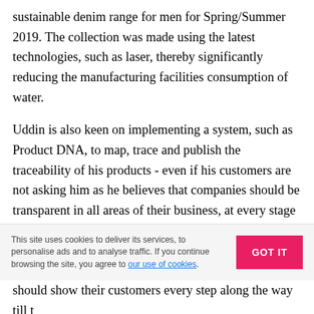sustainable denim range for men for Spring/Summer 2019. The collection was made using the latest technologies, such as laser, thereby significantly reducing the manufacturing facilities consumption of water.
Uddin is also keen on implementing a system, such as Product DNA, to map, trace and publish the traceability of his products - even if his customers are not asking him as he believes that companies should be transparent in all areas of their business, at every stage in their supply chain. "I am making these denim products for my customers, I want them to be transparent. I want to use respect-code.org tracing system as I want that level of transparency in my business. I
This site uses cookies to deliver its services, to personalise ads and to analyse traffic. If you continue browsing the site, you agree to our use of cookies.
should show their customers every step along the way till t